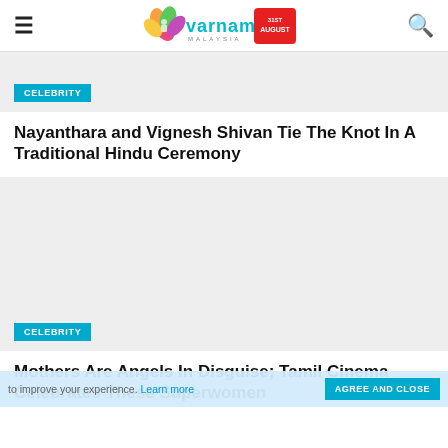Varnam Malaysia
[Figure (illustration): Partial image placeholder (light grey rectangle) with a CELEBRITY badge label at bottom left]
Nayanthara and Vignesh Shivan Tie The Knot In A Traditional Hindu Ceremony
[Figure (photo): Large grey placeholder image with CELEBRITY badge at bottom left]
Mothers Are Angels In Disguise; Tamil Cinema Celebrates These Superwomen
to improve your experience. Learn more   AGREE AND CLOSE